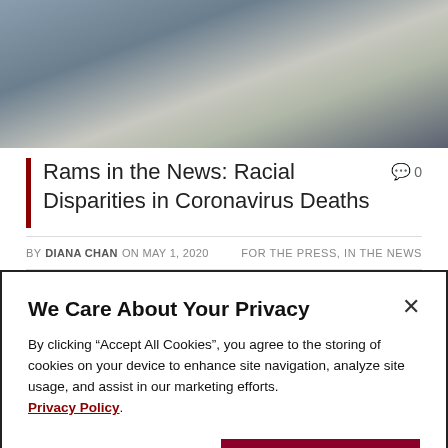[Figure (photo): A medical scene showing a patient lying in a hospital bed covered with a white sheet, attended by a healthcare worker in protective equipment.]
Rams in the News: Racial Disparities in Coronavirus Deaths
0
BY DIANA CHAN ON MAY 1, 2020    FOR THE PRESS, IN THE NEWS
We Care About Your Privacy
By clicking “Accept All Cookies”, you agree to the storing of cookies on your device to enhance site navigation, analyze site usage, and assist in our marketing efforts. Privacy Policy
Cookie Settings
Accept All Cookies